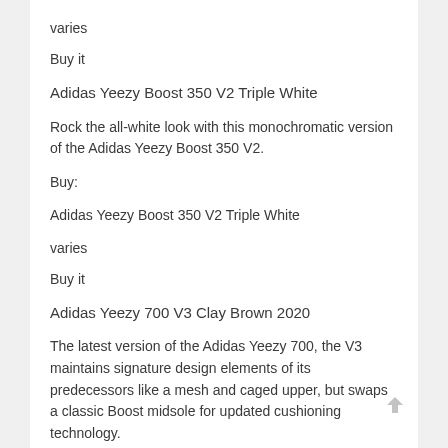varies
Buy it
Adidas Yeezy Boost 350 V2 Triple White
Rock the all-white look with this monochromatic version of the Adidas Yeezy Boost 350 V2.
Buy:
Adidas Yeezy Boost 350 V2 Triple White
varies
Buy it
Adidas Yeezy 700 V3 Clay Brown 2020
The latest version of the Adidas Yeezy 700, the V3 maintains signature design elements of its predecessors like a mesh and caged upper, but swaps a classic Boost midsole for updated cushioning technology.
Buy: